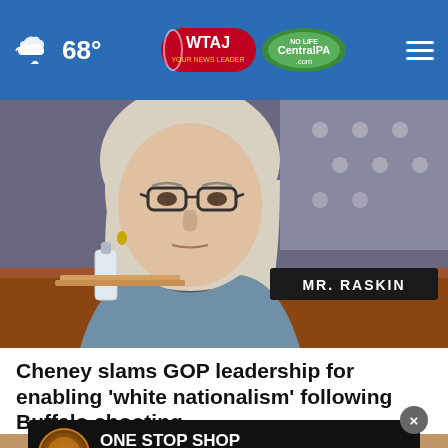68° WTAJ CentralPA.com
[Figure (photo): Woman with blonde hair and glasses sitting at a congressional hearing desk, with an American flag in background and a nameplate reading MR. RASKIN]
Cheney slams GOP leadership for enabling 'white nationalism' following Buffalo shooting
[Figure (photo): Partial view of a second photo at bottom of page, partially covered by advertisement]
[Figure (infographic): Advertisement banner: ONE STOP SHOP FOR ALL YOUR HARLEY NEEDS LEARN MORE, with Harley-Davidson logo on dark background]